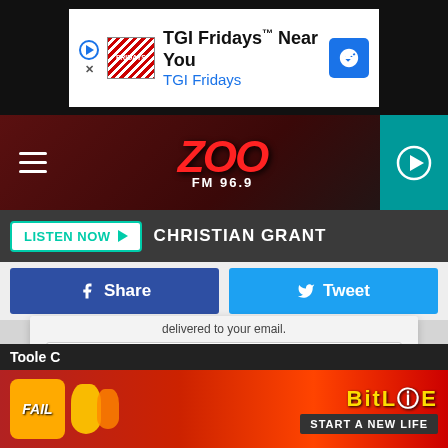[Figure (screenshot): TGI Fridays advertisement banner — 'TGI Fridays Near You / TGI Fridays' with logo and navigation arrow icon]
[Figure (screenshot): Zoo FM 96.9 radio station header with hamburger menu, red ZOO logo, and teal play button circle]
[Figure (screenshot): Listen Now bar with host name CHRISTIAN GRANT]
[Figure (screenshot): Social share buttons: blue Facebook Share and cyan Twitter Tweet]
delivered to your email.
Email Address
Like Us On Facebook
Toole C
[Figure (screenshot): BitLife advertisement banner at bottom — cartoon fail/fire imagery with 'START A NEW LIFE' text]